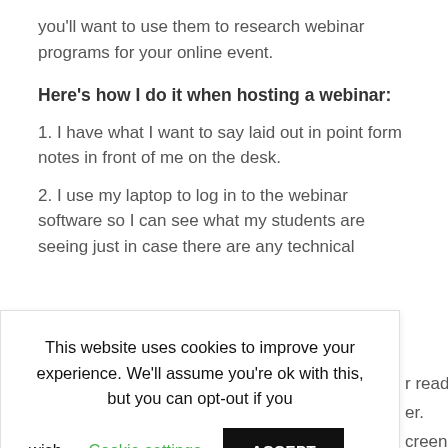you'll want to use them to research webinar programs for your online event.
Here's how I do it when hosting a webinar:
1. I have what I want to say laid out in point form notes in front of me on the desk.
2. I use my laptop to log in to the webinar software so I can see what my students are seeing just in case there are any technical
r ready as er. creen.
This website uses cookies to improve your experience. We'll assume you're ok with this, but you can opt-out if you wish. Cookie settings ACCEPT